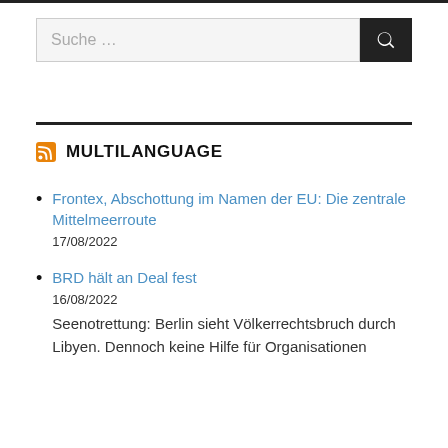[Figure (other): Search input box with placeholder text 'Suche ...' and a dark search button with magnifying glass icon]
MULTILANGUAGE
Frontex, Abschottung im Namen der EU: Die zentrale Mittelmeerroute
17/08/2022
BRD hält an Deal fest
16/08/2022
Seenotrettung: Berlin sieht Völkerrechtsbruch durch Libyen. Dennoch keine Hilfe für Organisationen